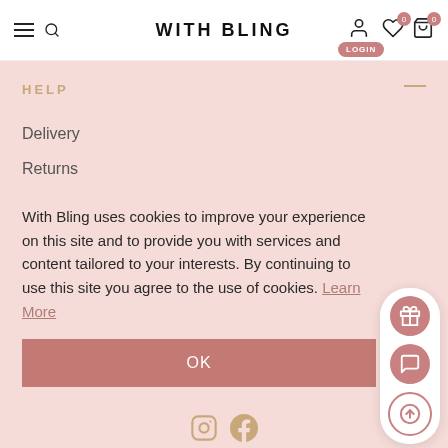WITH BLING
HELP
Delivery
Returns
With Bling uses cookies to improve your experience on this site and to provide you with services and content tailored to your interests. By continuing to use this site you agree to the use of cookies. Learn More
OK